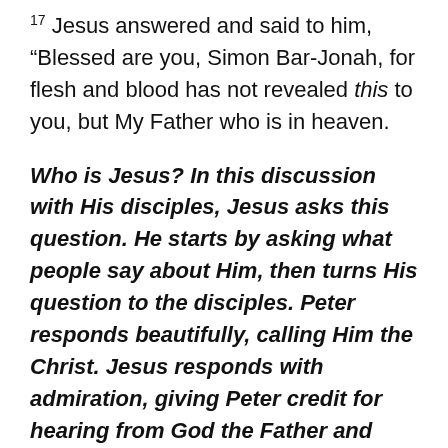17 Jesus answered and said to him, “Blessed are you, Simon Bar-Jonah, for flesh and blood has not revealed this to you, but My Father who is in heaven.
Who is Jesus? In this discussion with His disciples, Jesus asks this question. He starts by asking what people say about Him, then turns His question to the disciples. Peter responds beautifully, calling Him the Christ. Jesus responds with admiration, giving Peter credit for hearing from God the Father and thinking spiritually. One of the keys to the Kingdom is to know and understand Who